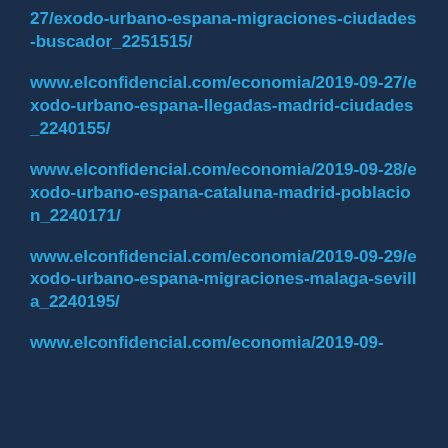27/exodo-urbano-espana-migraciones-ciudades-buscador_2251515/
www.elconfidencial.com/economia/2019-09-27/exodo-urbano-espana-llegadas-madrid-ciudades_2240155/
www.elconfidencial.com/economia/2019-09-28/exodo-urbano-espana-cataluna-madrid-poblacion_2240171/
www.elconfidencial.com/economia/2019-09-29/exodo-urbano-espana-migraciones-malaga-sevilla_2240195/
www.elconfidencial.com/economia/2019-09-